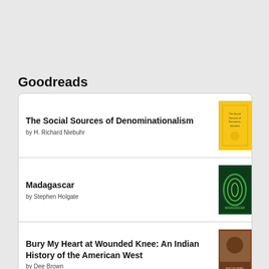Goodreads
The Social Sources of Denominationalism by H. Richard Niebuhr
Madagascar by Stephen Holgate
Bury My Heart at Wounded Knee: An Indian History of the American West by Dee Brown
The End of White Christian America